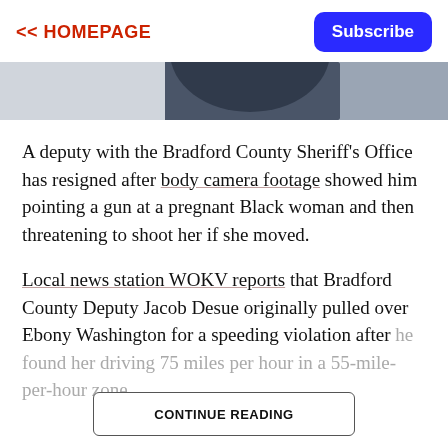<< HOMEPAGE    Subscribe
[Figure (photo): Partial photo showing a person in dark clothing, cropped at torso level with light background]
A deputy with the Bradford County Sheriff’s Office has resigned after body camera footage showed him pointing a gun at a pregnant Black woman and then threatening to shoot her if she moved.
Local news station WOKV reports that Bradford County Deputy Jacob Desue originally pulled over Ebony Washington for a speeding violation after he found her driving 75 miles per hour in a 55-mile-per-hour zone.
CONTINUE READING